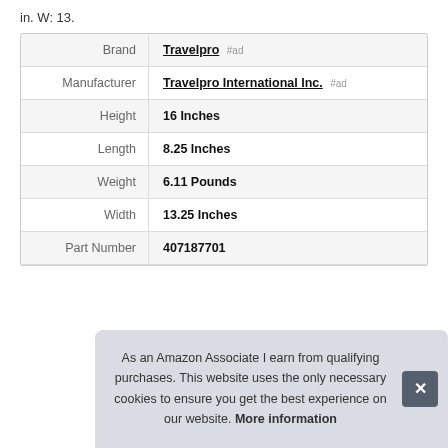in. W: 13.
| Attribute | Value |
| --- | --- |
| Brand | Travelpro #ad |
| Manufacturer | Travelpro International Inc. #ad |
| Height | 16 Inches |
| Length | 8.25 Inches |
| Weight | 6.11 Pounds |
| Width | 13.25 Inches |
| Part Number | 407187701 |
As an Amazon Associate I earn from qualifying purchases. This website uses the only necessary cookies to ensure you get the best experience on our website. More information